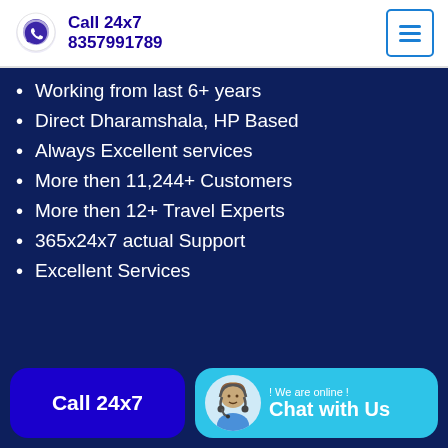Call 24x7
8357991789
Working from last 6+ years
Direct Dharamshala, HP Based
Always Excellent services
More then 11,244+ Customers
More then 12+ Travel Experts
365x24x7 actual Support
Excellent Services
Call 24x7
! We are online !
Chat with Us